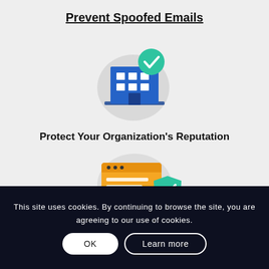Prevent Spoofed Emails
[Figure (illustration): Illustration of a blue office building with white windows and a green checkmark badge in the top-right corner, on a light gray circular background]
Protect Your Organization's Reputation
[Figure (illustration): Illustration of an orange browser/document window with a teal shield bearing a white checkmark, on a light gray circular background]
This site uses cookies. By continuing to browse the site, you are agreeing to our use of cookies.
OK
Learn more